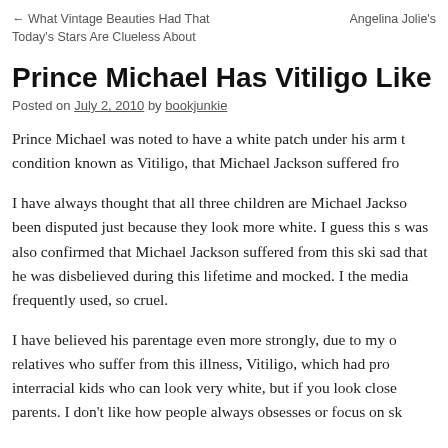← What Vintage Beauties Had That Today's Stars Are Clueless About    Angelina Jolie's
Prince Michael Has Vitiligo Like His Fathe
Posted on July 2, 2010 by bookjunkie
Prince Michael was noted to have a white patch under his arm th condition known as Vitiligo, that Michael Jackson suffered from
I have always thought that all three children are Michael Jackso been disputed just because they look more white. I guess this sh was also confirmed that Michael Jackson suffered from this ski sad that he was disbelieved during this lifetime and mocked. I a the media frequently used, so cruel.
I have believed his parentage even more strongly, due to my ow relatives who suffer from this illness, Vitiligo, which had prove interracial kids who can look very white, but if you look closely parents. I don't like how people always obsesses or focus on ski